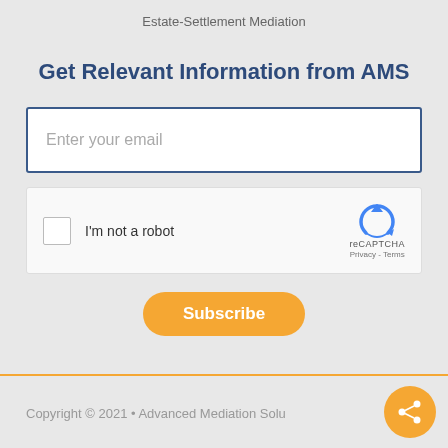Estate-Settlement Mediation
Get Relevant Information from AMS
[Figure (screenshot): Email input field with placeholder text 'Enter your email' inside a white box with dark blue border]
[Figure (screenshot): reCAPTCHA widget showing checkbox, 'I'm not a robot' text, and reCAPTCHA logo with Privacy - Terms links]
[Figure (other): Orange 'Subscribe' button with rounded pill shape]
Copyright © 2021 • Advanced Mediation Solu...